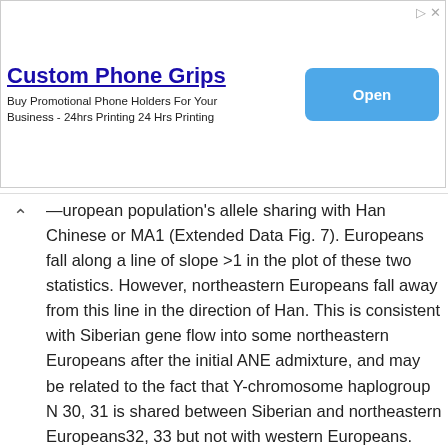[Figure (other): Advertisement banner: 'Custom Phone Grips' with subtitle 'Buy Promotional Phone Holders For Your Business - 24hrs Printing 24 Hrs Printing' and an 'Open' button in blue.]
European population's allele sharing with Han Chinese or MA1 (Extended Data Fig. 7). Europeans fall along a line of slope >1 in the plot of these two statistics. However, northeastern Europeans fall away from this line in the direction of Han. This is consistent with Siberian gene flow into some northeastern Europeans after the initial ANE admixture, and may be related to the fact that Y-chromosome haplogroup N 30, 31 is shared between Siberian and northeastern Europeans32, 33 but not with western Europeans. There may in fact be multiple layers of Siberian gene flow into northeastern Europe after the initial ANE gene flow, as our analyses reported in SI 12 show that some Mordovians, Russians and Chuvash have Siberian-related admixture that is